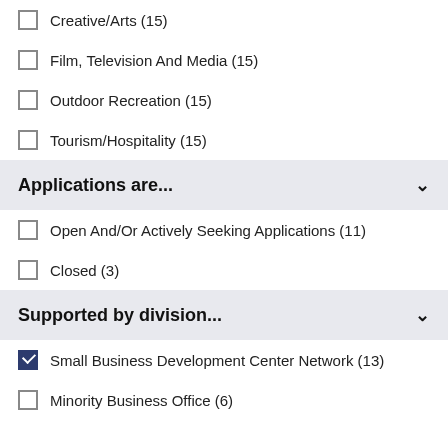Creative/Arts (15)
Film, Television And Media (15)
Outdoor Recreation (15)
Tourism/Hospitality (15)
Applications are...
Open And/Or Actively Seeking Applications (11)
Closed (3)
Supported by division...
Small Business Development Center Network (13)
Minority Business Office (6)